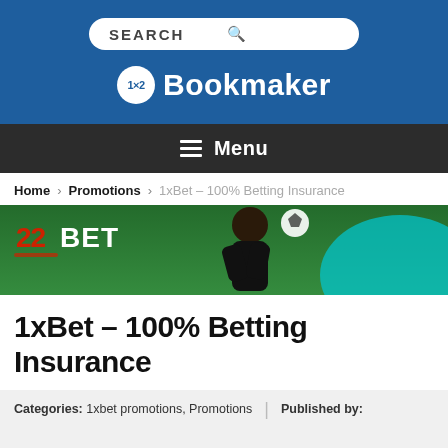SEARCH
[Figure (logo): 1x2 Bookmaker logo with white circle badge containing '1x2' text and 'Bookmaker' in white bold lettering on blue background]
Menu
Home > Promotions > 1xBet – 100% Betting Insurance
[Figure (photo): 22BET banner image showing a footballer/soccer player on a green field with 22BET logo in red/orange on the left]
1xBet – 100% Betting Insurance
Categories: 1xbet promotions, Promotions  |  Published by: